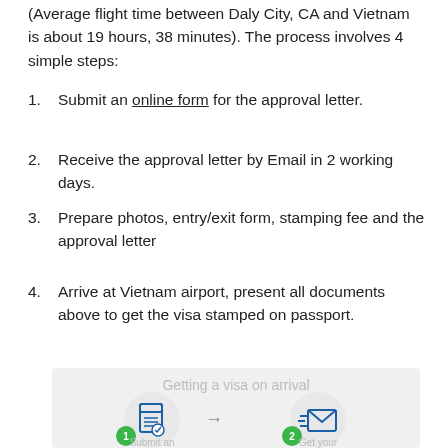(Average flight time between Daly City, CA and Vietnam is about 19 hours, 38 minutes). The process involves 4 simple steps:
Submit an online form for the approval letter.
Receive the approval letter by Email in 2 working days.
Prepare photos, entry/exit form, stamping fee and the approval letter
Arrive at Vietnam airport, present all documents above to get the visa stamped on passport.
[Figure (infographic): Infographic showing 'Getting a visa on arrival' with 4 steps depicted as icons in circles: 1) Submit an online form (document icon), 2) Get your (email/envelope icon). Steps connected by arrow.]